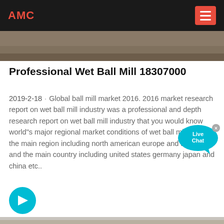AMC
[Figure (photo): Top banner image showing a landscape/industrial scene with brown and tan tones]
Professional Wet Ball Mill 18307000
2019-2-18 · Global ball mill market 2016. 2016 market research report on wet ball mill industry was a professional and depth research report on wet ball mill industry that you would know world"s major regional market conditions of wet ball mill industry the main region including north american europe and asia etc. and the main country including united states germany japan and china etc..
[Figure (other): Blue circular arrow button (read more / navigate link)]
[Figure (photo): Bottom landscape photo showing mountains and arid terrain in muted tan and grey tones]